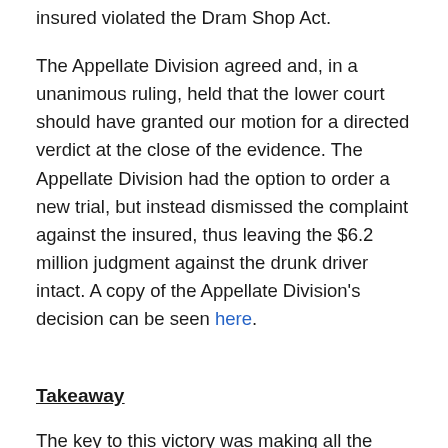insured violated the Dram Shop Act.
The Appellate Division agreed and, in a unanimous ruling, held that the lower court should have granted our motion for a directed verdict at the close of the evidence. The Appellate Division had the option to order a new trial, but instead dismissed the complaint against the insured, thus leaving the $6.2 million judgment against the drunk driver intact. A copy of the Appellate Division's decision can be seen here.
Takeaway
The key to this victory was making all the correct arguments and objections in the lower court in order to preserve them for appellate review. We recognized the evidence simply did not support the verdict and persisted in maintaining this position throughout the trial and appeal process. This ruling shows that, although difficult,